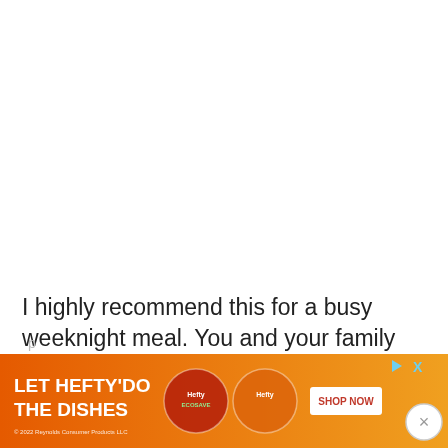I highly recommend this for a busy weeknight meal. You and your family will LOVE it!
[Figure (screenshot): Partial comment/input box with a gray submit button visible at top right, and partial text at the bottom]
[Figure (infographic): Advertisement banner for Hefty brand: orange gradient background, text 'LET HEFTY DO THE DISHES', product images of Hefty EcoSave and Hefty containers, SHOP NOW button, close (X) button, D|X badge, and copyright text '© 2022 Reynolds Consumer Products LLC']